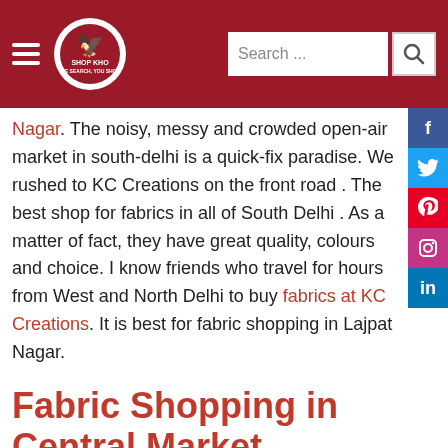Shop Kho — Search bar and logo header
Nagar. The noisy, messy and crowded open-air market in south-delhi is a quick-fix paradise. We rushed to KC Creations on the front road . The best shop for fabrics in all of South Delhi . As a matter of fact, they have great quality, colours and choice. I know friends who travel for hours from West and North Delhi to buy fabrics at KC Creations. It is best for fabric shopping in Lajpat Nagar.
Fabric Shopping in Central Market, Lajpat Nagar
Rich brocade, benares georgette, crepe silk, rough-silk, deep velvets, shimmery satins, breezy lace, colourful